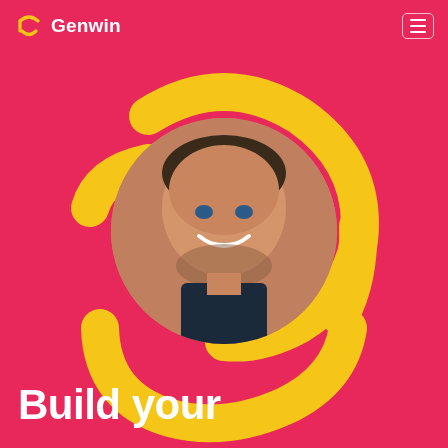Genwin
[Figure (illustration): Large yellow Genwin logo symbol (stylized face/smile icon) centered on a hot pink/red background, with a smiling man's face photo overlaid in the center of the symbol]
Build your